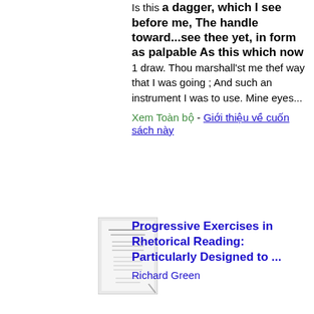Is this a dagger, which I see before me, The handle toward...see thee yet, in form as palpable As this which now 1 draw. Thou marshall'st me thef way that I was going ; And such an instrument I was to use. Mine eyes...
Xem Toàn bộ - Giới thiệu về cuốn sách này
[Figure (photo): Thumbnail image of a book cover]
Progressive Exercises in Rhetorical Reading: Particularly Designed to ...
Richard Green